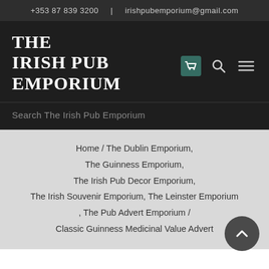+353 87 839 3200  |  irishpubemporium@gmail.com
THE IRISH PUB EMPORIUM
Search The Irish Pub Emporium
Home / The Dublin Emporium, The Guinness Emporium, The Irish Pub Decor Emporium, The Irish Souvenir Emporium, The Leinster Emporium , The Pub Advert Emporium / Classic Guinness Medicinal Value Advert